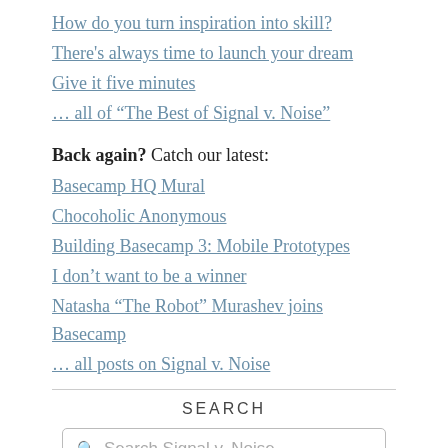How do you turn inspiration into skill?
There's always time to launch your dream
Give it five minutes
… all of “The Best of Signal v. Noise”
Back again? Catch our latest:
Basecamp HQ Mural
Chocoholic Anonymous
Building Basecamp 3: Mobile Prototypes
I don’t want to be a winner
Natasha “The Robot” Murashev joins Basecamp
… all posts on Signal v. Noise
SEARCH
Search Signal v. Noise...